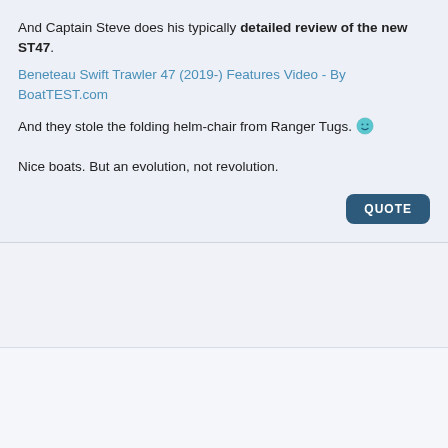And Captain Steve does his typically detailed review of the new ST47.
Beneteau Swift Trawler 47 (2019-) Features Video - By BoatTEST.com
And they stole the folding helm-chair from Ranger Tugs. 🙂
Nice boats. But an evolution, not revolution.